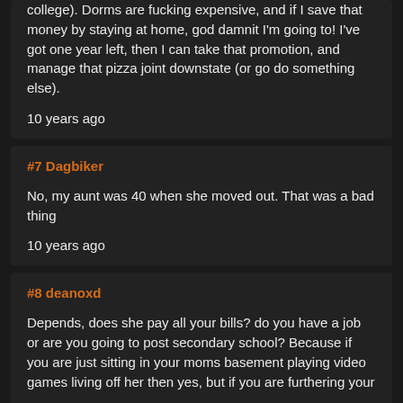college). Dorms are fucking expensive, and if I save that money by staying at home, god damnit I'm going to! I've got one year left, then I can take that promotion, and manage that pizza joint downstate (or go do something else).
10 years ago
#7 Dagbiker
No, my aunt was 40 when she moved out. That was a bad thing
10 years ago
#8 deanoxd
Depends, does she pay all your bills? do you have a job or are you going to post secondary school? Because if you are just sitting in your moms basement playing video games living off her then yes, but if you are furthering your